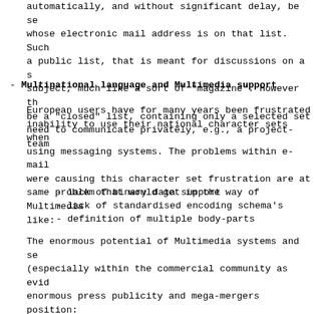automatically, and without significant delay, be se whose electronic mail address is on that list. Such a public list, that is meant for discussions on a s subject, much like a sort of "magazine". However th be a "closed" list, containing only a selected set need to communicate privately, e.g., a project-team
- Multinational language and Multimedia support
European users have for many years been frustrated inability to use their national character sets when using messaging systems. The problems within e-mail were causing this character set frustration are at same problem that would get in the way of Multimedia like:
- lack of binary data support
- lack of standardised encoding schema's
- definition of multiple body-parts
The enormous potential of Multimedia systems and se (especially within the commercial community as evid enormous press publicity and mega-mergers position: exploit this technology but also within the govern i.e., the U.S.A. Government's 'Information Superhig initiative) has acted as a spur to make rapid progr the problems in this area.
- White pages Directory Service
A white pages directory service provides